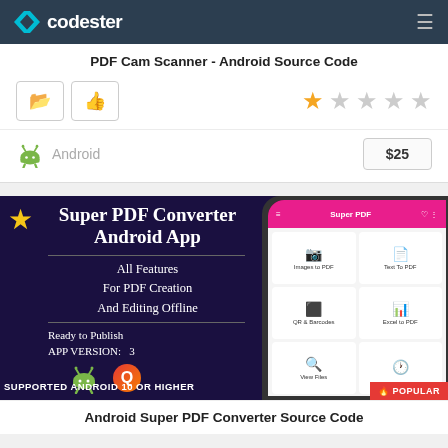codester
PDF Cam Scanner - Android Source Code
Rating: 1 out of 5 stars
Android  $25
[Figure (screenshot): Super PDF Converter Android App promotional banner showing app features: All Features For PDF Creation And Editing Offline, Ready to Publish, APP VERSION: 3, SUPPORTED ANDROID 10 OR HIGHER. Right side shows phone mockup with app UI including Images to PDF, Text To PDF, QR & Barcodes, Excel to PDF, View Files features. POPULAR badge at bottom right.]
Android Super PDF Converter Source Code